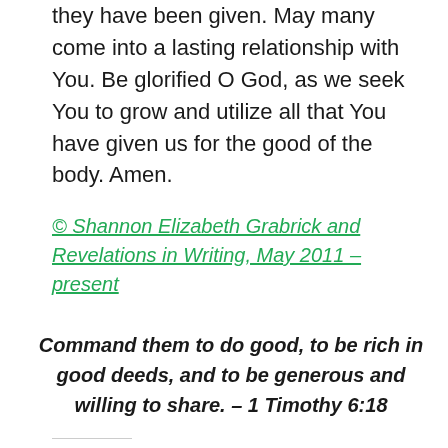they have been given. May many come into a lasting relationship with You. Be glorified O God, as we seek You to grow and utilize all that You have given us for the good of the body. Amen.
© Shannon Elizabeth Grabrick and Revelations in Writing, May 2011 – present
Command them to do good, to be rich in good deeds, and to be generous and willing to share. – 1 Timothy 6:18